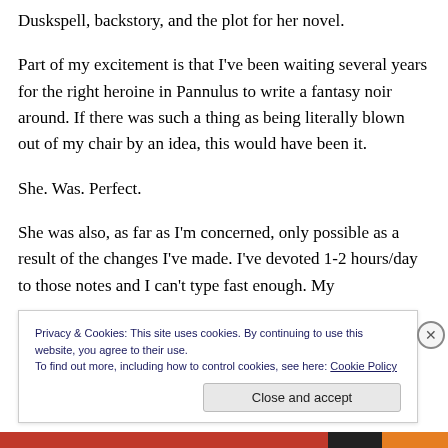Duskspell, backstory, and the plot for her novel.
Part of my excitement is that I've been waiting several years for the right heroine in Pannulus to write a fantasy noir around. If there was such a thing as being literally blown out of my chair by an idea, this would have been it.
She. Was. Perfect.
She was also, as far as I'm concerned, only possible as a result of the changes I've made. I've devoted 1-2 hours/day to those notes and I can't type fast enough. My
Privacy & Cookies: This site uses cookies. By continuing to use this website, you agree to their use.
To find out more, including how to control cookies, see here: Cookie Policy
Close and accept